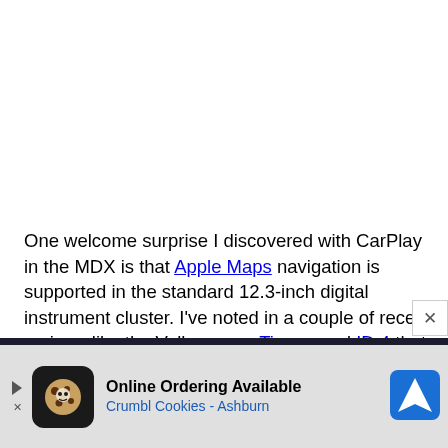One welcome surprise I discovered with CarPlay in the MDX is that Apple Maps navigation is supported in the standard 12.3-inch digital instrument cluster. I've noted in a couple of recent reviews like the Volkswagen Tiguan and ID.4 that Apple rolled out support for this feature back in iOS 13, but car manufacturers are only just starting to support it.
[Figure (other): Advertisement banner for Crumbl Cookies - Online Ordering Available, Crumbl Cookies - Ashburn, with play arrow, cookie icon, and navigation badge]